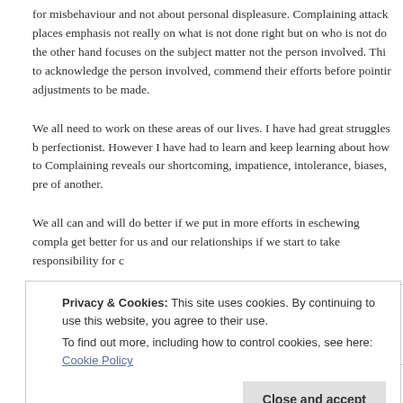for misbehaviour and not about personal displeasure. Complaining attack places emphasis not really on what is not done right but on who is not do the other hand focuses on the subject matter not the person involved. This to acknowledge the person involved, commend their efforts before pointir adjustments to be made.
We all need to work on these areas of our lives. I have had great struggles b perfectionist. However I have had to learn and keep learning about how to Complaining reveals our shortcoming, impatience, intolerance, biases, pre of another.
We all can and will do better if we put in more efforts in eschewing compla get better for us and our relationships if we start to take responsibility for c
[Figure (illustration): Large decorative opening quotation marks in muted blue/purple color, inside a bordered box]
Privacy & Cookies: This site uses cookies. By continuing to use this website, you agree to their use.
To find out more, including how to control cookies, see here: Cookie Policy